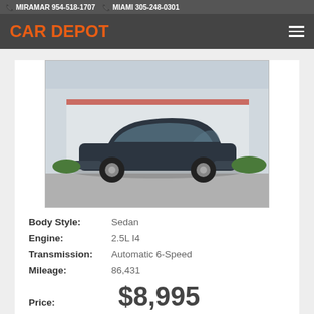MIRAMAR 954-518-1707  MIAMI 305-248-0301
[Figure (logo): CAR DEPOT orange logo on dark navigation bar]
[Figure (photo): Dark gray sedan (Ford Taurus or similar) parked in a lot in front of a dealership building]
Body Style: Sedan
Engine: 2.5L I4
Transmission: Automatic 6-Speed
Mileage: 86,431
Price: $8,995
$115.93/mo*
[Figure (logo): CAR DEPOT MIRAMAR orange text logo and AutoCheck badge (a part of Experian)]
Virtual Test Drive
View Details